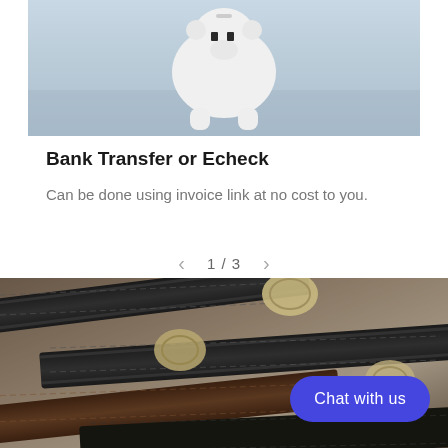[Figure (photo): White ceramic piggy bank with two square black eyes sitting on a light blue surface]
Bank Transfer or Echeck
Can be done using invoice link at no cost to you.
1 / 3
[Figure (photo): Close-up photo of leather belts with decorative silver buckles arranged on a gray surface]
Chat with us